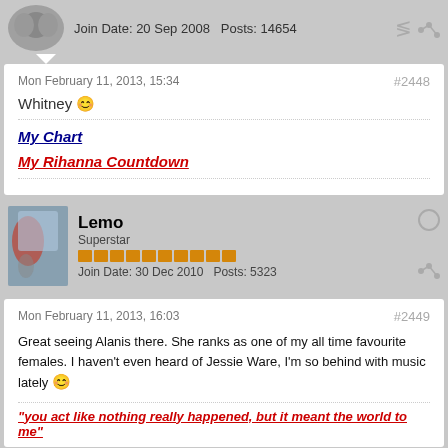Join Date: 20 Sep 2008  Posts: 14654
Mon February 11, 2013, 15:34
#2448
Whitney
My Chart
My Rihanna Countdown
Lemo
Superstar
Join Date: 30 Dec 2010  Posts: 5323
Mon February 11, 2013, 16:03
#2449
Great seeing Alanis there. She ranks as one of my all time favourite females. I haven't even heard of Jessie Ware, I'm so behind with music lately
"you act like nothing really happened, but it meant the world to me"